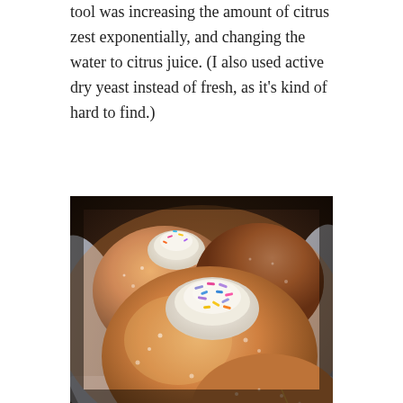tool was increasing the amount of citrus zest exponentially, and changing the water to citrus juice. (I also used active dry yeast instead of fresh, as it's kind of hard to find.)
[Figure (photo): Close-up photograph of sugar-coated doughnut holes (bomboloni) topped with white cream frosting and colorful sprinkles, arranged in a paper-lined box. The doughnuts are golden-brown and dusted with sugar, with the foreground doughnut prominently showing multicolored sprinkles on its cream topping.]